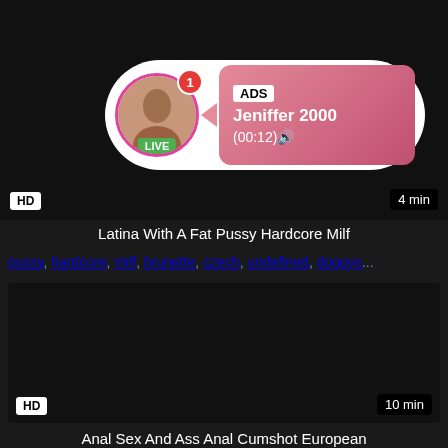[Figure (screenshot): Video thumbnail with ADS overlay showing streamer Jeniffer 2000, HD badge, 4 min duration, LIVE badge]
Latina With A Fat Pussy Hardcore Milf
pussy, hardcore, milf, brunette, czech, undefined, doggys...
[Figure (screenshot): Dark video thumbnail with HD badge and 10 min duration]
Anal Sex And Ass Anal Cumshot European